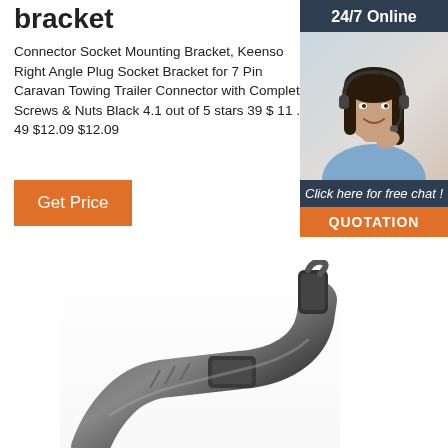bracket
Connector Socket Mounting Bracket, Keenso Right Angle Plug Socket Bracket for 7 Pin Caravan Towing Trailer Connector with Complete Screws & Nuts Black 4.1 out of 5 stars 39 $ 11 . 49 $12.09 $12.09
[Figure (photo): Customer service agent / 24/7 Online chat panel with orange QUOTATION button on dark navy background]
[Figure (photo): Black connector socket mounting bracket product photo, angled view showing the bracket hardware]